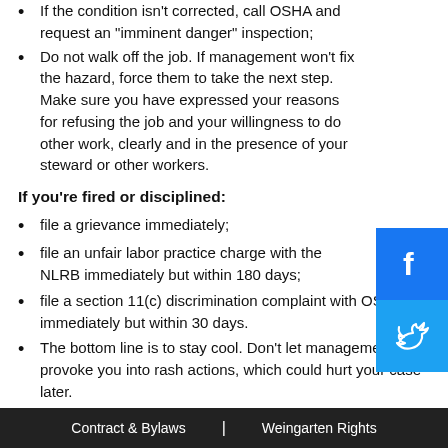If the condition isn't corrected, call OSHA and request an "imminent danger" inspection;
Do not walk off the job. If management won't fix the hazard, force them to take the next step. Make sure you have expressed your reasons for refusing the job and your willingness to do other work, clearly and in the presence of your steward or other workers.
If you're fired or disciplined:
file a grievance immediately;
file an unfair labor practice charge with the NLRB immediately but within 180 days;
file a section 11(c) discrimination complaint with OSHA immediately but within 30 days.
The bottom line is to stay cool. Don't let management provoke you into rash actions, which could hurt your case later.
Proving that your job was "abnormally and objectively dangerous" is a matter of documentation:
Was the job one you'd never done before? Did you find the
Contract & Bylaws  |  Weingarten Rights